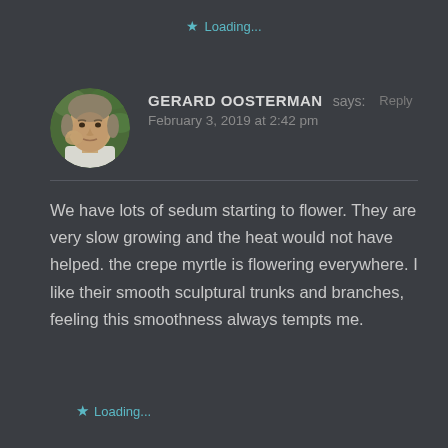★ Loading...
[Figure (photo): Circular avatar photo of Gerard Oosterman, an older man with gray hair resting his hand near his face, with green foliage in the background]
GERARD OOSTERMAN says: Reply
February 3, 2019 at 2:42 pm
We have lots of sedum starting to flower. They are very slow growing and the heat would not have helped. the crepe myrtle is flowering everywhere. I like their smooth sculptural trunks and branches, feeling this smoothness always tempts me.
★ Loading...